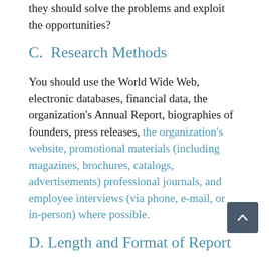they should solve the problems and exploit the opportunities?
C.  Research Methods
You should use the World Wide Web, electronic databases, financial data, the organization's Annual Report, biographies of founders, press releases, the organization's website, promotional materials (including magazines, brochures, catalogs, advertisements) professional journals, and employee interviews (via phone, e-mail, or in-person) where possible.
D. Length and Format of Report